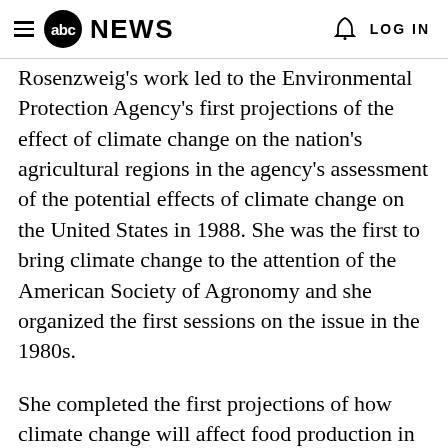abc NEWS  LOG IN
Rosenzweig's work led to the Environmental Protection Agency's first projections of the effect of climate change on the nation's agricultural regions in the agency's assessment of the potential effects of climate change on the United States in 1988. She was the first to bring climate change to the attention of the American Society of Agronomy and she organized the first sessions on the issue in the 1980s.
She completed the first projections of how climate change will affect food production in North America in 1985 and globally in 1994, and she was one of the first scientists to